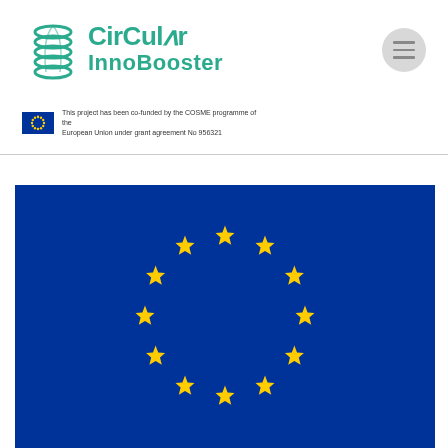[Figure (logo): CircularInnoBooster logo with teal swirl/spring icon and text 'CirCulʌr InnoBooster']
This project has been co-funded by the COSME programme of the European Union under grant agreement No 956321
[Figure (logo): Small EU flag badge next to funding text]
[Figure (illustration): Large European Union flag — blue background with circle of 12 yellow stars]